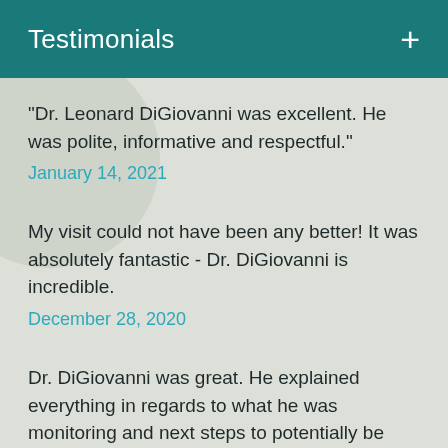Testimonials
"Dr. Leonard DiGiovanni was excellent. He was polite, informative and respectful."
January 14, 2021
My visit could not have been any better! It was absolutely fantastic - Dr. DiGiovanni is incredible.
December 28, 2020
Dr. DiGiovanni was great. He explained everything in regards to what he was monitoring and next steps to potentially be taken.